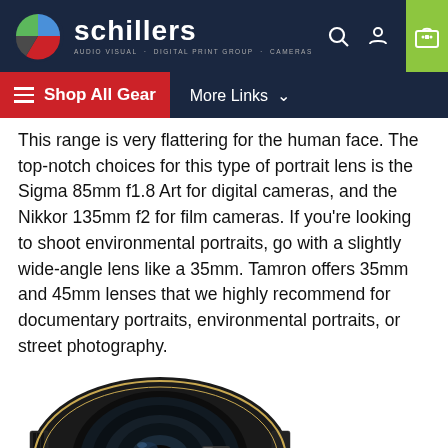Schillers – Audio Visual · Digital Print Group · Cameras
This range is very flattering for the human face. The top-notch choices for this type of portrait lens is the Sigma 85mm f1.8 Art for digital cameras, and the Nikkor 135mm f2 for film cameras. If you're looking to shoot environmental portraits, go with a slightly wide-angle lens like a 35mm. Tamron offers 35mm and 45mm lenses that we highly recommend for documentary portraits, environmental portraits, or street photography.
[Figure (photo): Close-up photo of a Nikon camera lens (appears to be a macro/portrait lens) with 'VR' label visible in red, shown on white background]